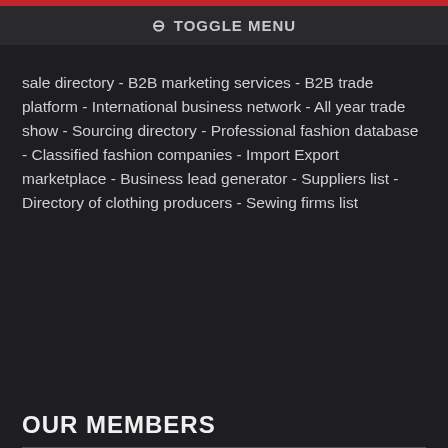TOGGLE MENU
sale directory - B2B marketing services - B2B trade platform - International business network - All year trade show - Sourcing directory - Professional fashion database - Classified fashion companies - Import Export marketplace - Business lead generator - Suppliers list - Directory of clothing producers - Sewing firms list
OUR MEMBERS